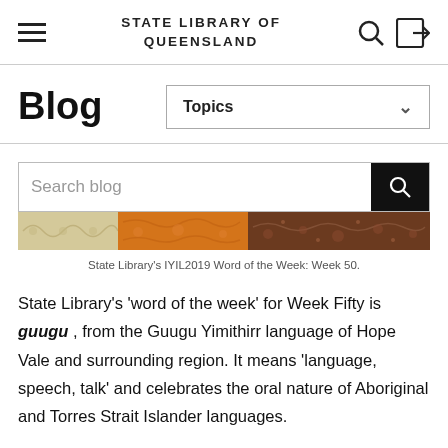STATE LIBRARY OF QUEENSLAND
Blog
[Figure (screenshot): Topics dropdown selector with chevron arrow]
[Figure (screenshot): Search blog input box with black search button icon]
[Figure (illustration): Decorative Aboriginal art banner with warm earth tones — ochre, orange, brown, cream — featuring traditional dot and pattern motifs]
State Library's IYIL2019 Word of the Week: Week 50.
State Library's 'word of the week' for Week Fifty is guugu, from the Guugu Yimithirr language of Hope Vale and surrounding region. It means 'language, speech, talk' and celebrates the oral nature of Aboriginal and Torres Strait Islander languages.